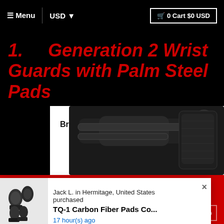≡ Menu | USD ▾   🛒 0 Cart $0 USD
1.    Generation 2 Wrist Guards with Palm Steel Pads
[Figure (photo): Product image of a wrist guard with 'Breathable fabric' label and arrow pointing to the product]
SAFETY FIRST: JOIN OUR EMAIL LIST TO RECEIVE
Jack L. in Hermitage, United States purchased TQ-1 Carbon Fiber Pads Co... 17 hour(s) ago
email@example.com  GO